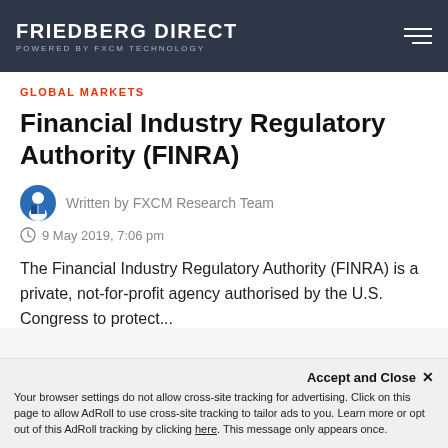FRIEDBERG DIRECT POWERED BY FXCM TECHNOLOGY
GLOBAL MARKETS
Financial Industry Regulatory Authority (FINRA)
Written by FXCM Research Team
9 May 2019, 7:06 pm
The Financial Industry Regulatory Authority (FINRA) is a private, not-for-profit agency authorised by the U.S. Congress to protect...
ECONOMIES
Accept and Close ×
Your browser settings do not allow cross-site tracking for advertising. Click on this page to allow AdRoll to use cross-site tracking to tailor ads to you. Learn more or opt out of this AdRoll tracking by clicking here. This message only appears once.